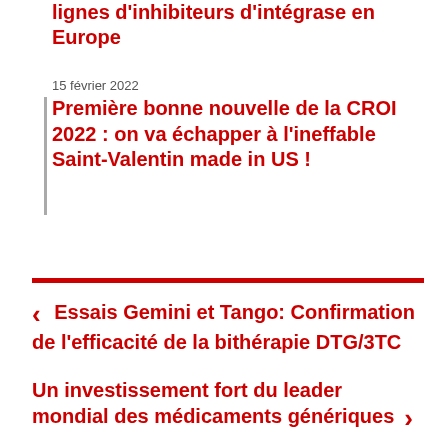lignes d'inhibiteurs d'intégrase en Europe
15 février 2022
Première bonne nouvelle de la CROI 2022 : on va échapper à l'ineffable Saint-Valentin made in US !
Essais Gemini et Tango: Confirmation de l'efficacité de la bithérapie DTG/3TC
Un investissement fort du leader mondial des médicaments génériques